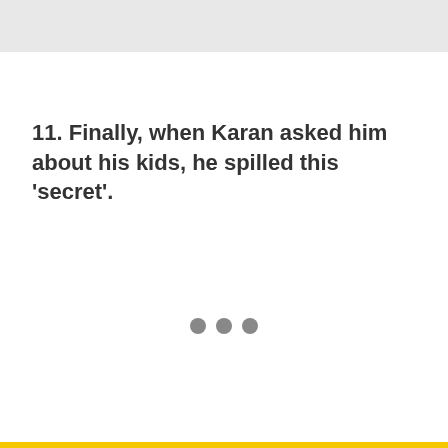11. Finally, when Karan asked him about his kids, he spilled this 'secret'.
[Figure (other): Three grey dots (loading or pagination indicator)]